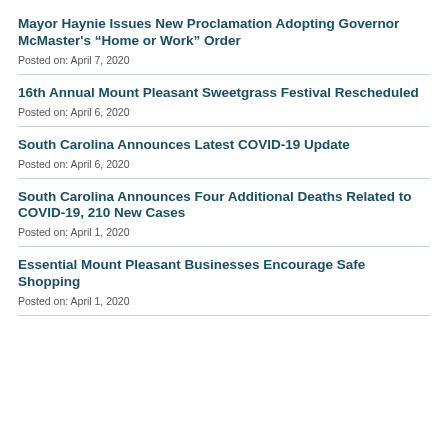Mayor Haynie Issues New Proclamation Adopting Governor McMaster’s “Home or Work” Order
Posted on: April 7, 2020
16th Annual Mount Pleasant Sweetgrass Festival Rescheduled
Posted on: April 6, 2020
South Carolina Announces Latest COVID-19 Update
Posted on: April 6, 2020
South Carolina Announces Four Additional Deaths Related to COVID-19, 210 New Cases
Posted on: April 1, 2020
Essential Mount Pleasant Businesses Encourage Safe Shopping
Posted on: April 1, 2020